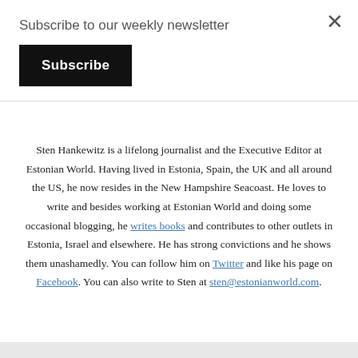Subscribe to our weekly newsletter
Subscribe
Sten Hankewitz is a lifelong journalist and the Executive Editor at Estonian World. Having lived in Estonia, Spain, the UK and all around the US, he now resides in the New Hampshire Seacoast. He loves to write and besides working at Estonian World and doing some occasional blogging, he writes books and contributes to other outlets in Estonia, Israel and elsewhere. He has strong convictions and he shows them unashamedly. You can follow him on Twitter and like his page on Facebook. You can also write to Sten at sten@estonianworld.com.